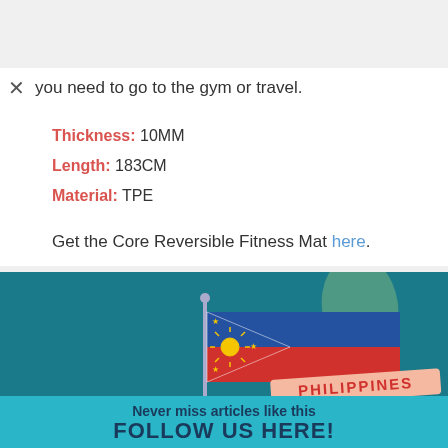you need to go to the gym or travel.
Thickness: 10MM
Length: 183CM
Material: TPE
Get the Core Reversible Fitness Mat here.
[Figure (illustration): Philippine flag illustration with map of the Philippines in the background and a banner reading PHILIPPINES, on a teal background. Below is a lighter teal bar with text 'Never miss articles like this' and 'FOLLOW US HERE!']